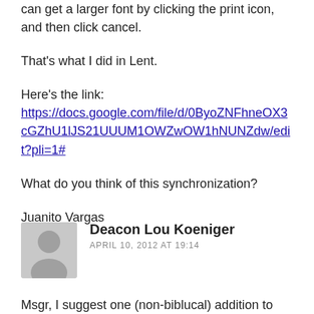can get a larger font by clicking the print icon, and then click cancel.
That's what I did in Lent.
Here's the link: https://docs.google.com/file/d/0ByoZNFhneOX3cGZhU1lJS21UUUM1OWZwOW1hNUNZdw/edit?pli=1#
What do you think of this synchronization?
Juanito Vargas
Deacon Lou Koeniger
APRIL 10, 2012 AT 19:14
Msgr, I suggest one (non-biblucal) addition to